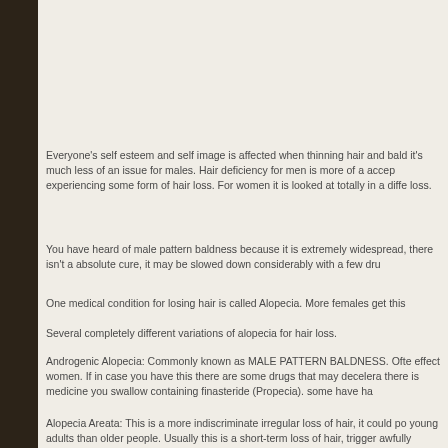Everyone's self esteem and self image is affected when thinning hair and bald it's much less of an issue for males. Hair deficiency for men is more of a accep experiencing some form of hair loss. For women it is looked at totally in a diffe loss.
You have heard of male pattern baldness because it is extremely widespread, there isn't a absolute cure, it may be slowed down considerably with a few dru
One medical condition for losing hair is called Alopecia. More females get this
Several completely different variations of alopecia for hair loss.
Androgenic Alopecia: Commonly known as MALE PATTERN BALDNESS. Ofte effect women. If in case you have this there are some drugs that may decelera there is medicine you swallow containing finasteride (Propecia). some have ha
Alopecia Areata: This is a more indiscriminate irregular loss of hair, it could po young adults than older people. Usually this is a short-term loss of hair, trigger awfully awkward it is normally less than a year before the hair returns.